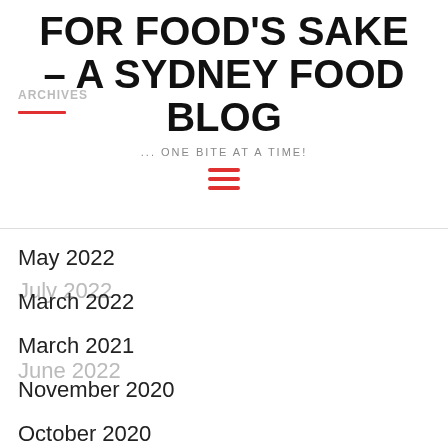FOR FOOD'S SAKE – A SYDNEY FOOD BLOG
... ONE BITE AT A TIME!
ARCHIVES
July 2022
June 2022
May 2022
March 2022
March 2021
November 2020
October 2020
July 2020
June 2020